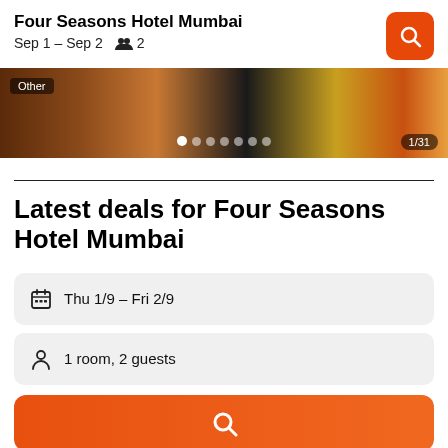Four Seasons Hotel Mumbai
Sep 1 – Sep 2   👥 2
[Figure (photo): Hotel image carousel strip showing food and decor photos, with 'Other' badge, dot pagination indicators, and '1/31' counter]
Latest deals for Four Seasons Hotel Mumbai
Thu 1/9  -  Fri 2/9
1 room, 2 guests